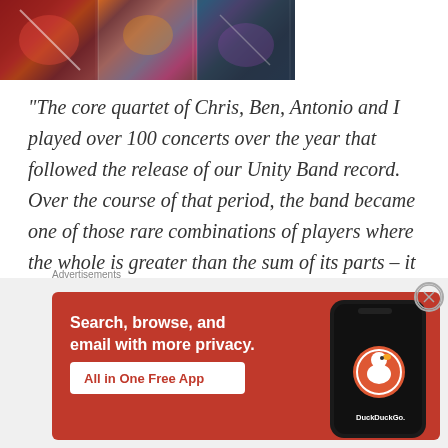[Figure (photo): Colorful collage/concert photo with red, orange, blue and dark tones showing musicians or performers]
“The core quartet of Chris, Ben, Antonio and I played over 100 concerts over the year that followed the release of our Unity Band record. Over the course of that period, the band became one of those rare combinations of players where the whole is greater than the sum of its parts – it gelled in every way, and
Advertisements
[Figure (screenshot): DuckDuckGo advertisement banner on orange-red background. Text: Search, browse, and email with more privacy. All in One Free App. Shows DuckDuckGo logo and app icon on phone mockup.]